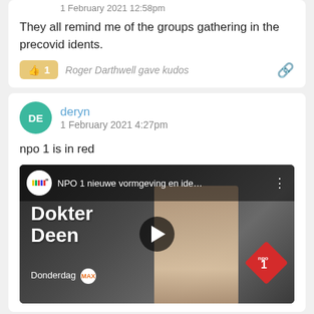1 February 2021 12:58pm
They all remind me of the groups gathering in the precovid idents.
👍 1  Roger Darthwell gave kudos
deryn
1 February 2021 4:27pm
npo 1 is in red
[Figure (screenshot): YouTube video thumbnail showing 'NPO 1 nieuwe vormgeving en ide...' with an older woman on the phone, large text 'Dokter Deen', 'Donderdag MAX' text, a play button, and the NPO 1 red logo in the corner.]